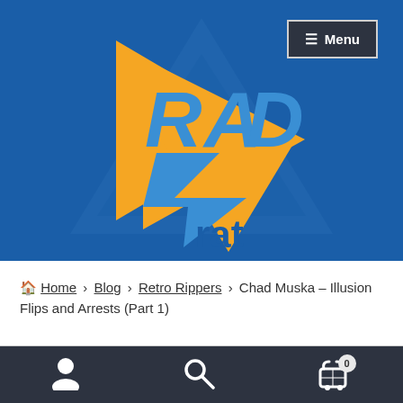[Figure (screenshot): Website header with dark blue background and RAD rat logo consisting of orange triangles and blue stylized letters]
[Figure (logo): RAD rat logo: orange/yellow triangles with blue 'RAD' letters on top and 'rat' text below]
≡ Menu
🏠 Home › Blog › Retro Rippers › Chad Muska – Illusion Flips and Arrests (Part 1)
User icon | Search icon | Cart icon (0)